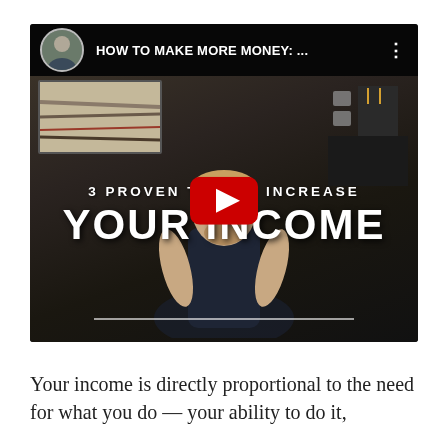[Figure (screenshot): YouTube video thumbnail showing a man in a dark t-shirt standing in a modern home interior. The video title overlay reads '3 PROVEN TIPS TO INCREASE YOUR INCOME' in large white text. The video bar at top shows 'HOW TO MAKE MORE MONEY: ...' with a YouTube play button overlay in the center.]
Your income is directly proportional to the need for what you do — your ability to do it,